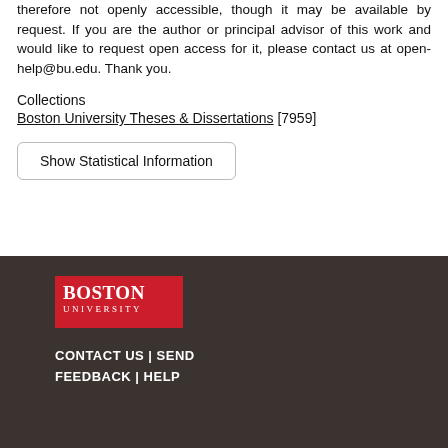therefore not openly accessible, though it may be available by request. If you are the author or principal advisor of this work and would like to request open access for it, please contact us at open-help@bu.edu. Thank you.
Collections
Boston University Theses & Dissertations [7959]
Show Statistical Information
CONTACT US | SEND FEEDBACK | HELP